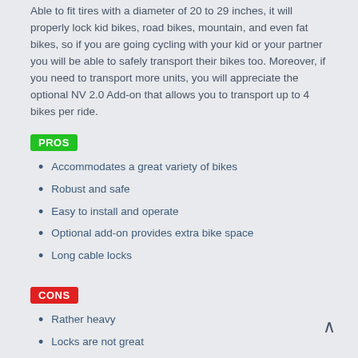Able to fit tires with a diameter of 20 to 29 inches, it will properly lock kid bikes, road bikes, mountain, and even fat bikes, so if you are going cycling with your kid or your partner you will be able to safely transport their bikes too. Moreover, if you need to transport more units, you will appreciate the optional NV 2.0 Add-on that allows you to transport up to 4 bikes per ride.
PROS
Accommodates a great variety of bikes
Robust and safe
Easy to install and operate
Optional add-on provides extra bike space
Long cable locks
CONS
Rather heavy
Locks are not great